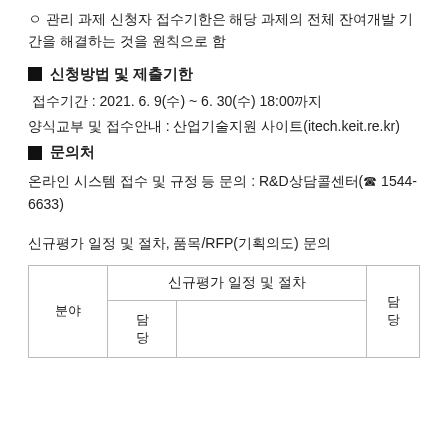ㅇ 관리 과제 신청자 접수기한은 해당 과제의 전체 잔여개발 기간을 해결하는 것을 원칙으로 함
■ 신청방법 및 제출기한
접수기간 : 2021. 6. 9(수) ~ 6. 30(수) 18:00까지
양식교부 및 접수안내 : 산업기술지원 사이트(itech.keit.re.kr)
■  문의처
온라인 시스템 접수 및 규정 등 문의 : R&D상담콜센터(☎ 1544-6633)
신규평가 일정 및 절차, 품목/RFP(기획의도) 문의
| 분야 | 신규평가 일정 및 절차 - 담당 |  | 담당 |
| --- | --- | --- | --- |
| 분야 | 담
당 |  | 담
당 |